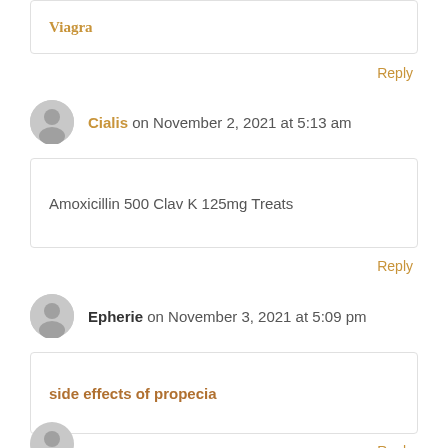Viagra
Reply
Cialis on November 2, 2021 at 5:13 am
Amoxicillin 500 Clav K 125mg Treats
Reply
Epherie on November 3, 2021 at 5:09 pm
side effects of propecia
Reply